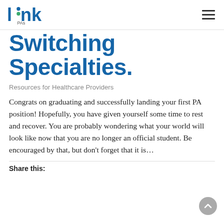link PAs
Switching Specialties.
Resources for Healthcare Providers
Congrats on graduating and successfully landing your first PA position! Hopefully, you have given yourself some time to rest and recover. You are probably wondering what your world will look like now that you are no longer an official student. Be encouraged by that, but don't forget that it is…
Share this: